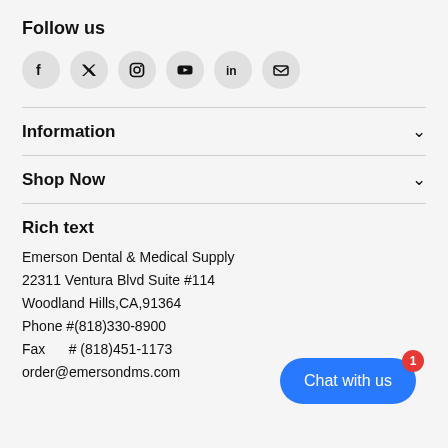Follow us
[Figure (infographic): Row of 6 social media icon circles: Facebook, Twitter, Instagram, YouTube, LinkedIn, Email/Envelope]
Information
Shop Now
Rich text
Emerson Dental & Medical Supply
22311 Ventura Blvd Suite #114
Woodland Hills,CA,91364
Phone #(818)330-8900
Fax    # (818)451-1173
order@emersondms.com